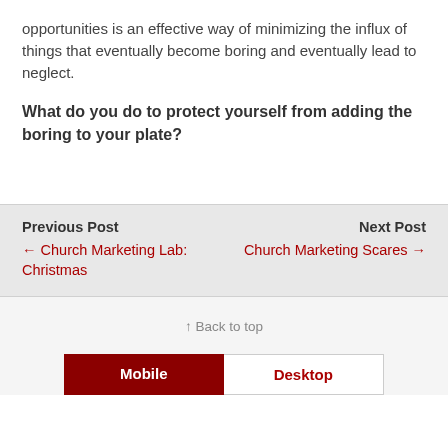opportunities is an effective way of minimizing the influx of things that eventually become boring and eventually lead to neglect.
What do you do to protect yourself from adding the boring to your plate?
Previous Post
← Church Marketing Lab: Christmas
Next Post
Church Marketing Scares →
↑ Back to top
Mobile   Desktop